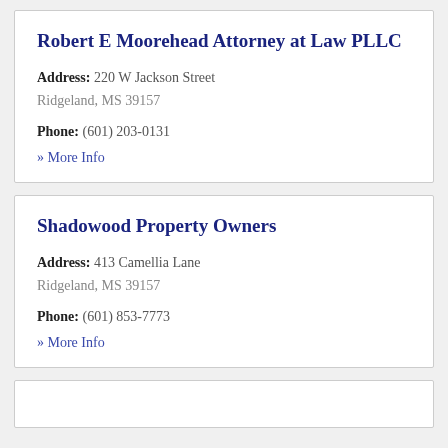Robert E Moorehead Attorney at Law PLLC
Address: 220 W Jackson Street
Ridgeland, MS 39157
Phone: (601) 203-0131
» More Info
Shadowood Property Owners
Address: 413 Camellia Lane
Ridgeland, MS 39157
Phone: (601) 853-7773
» More Info